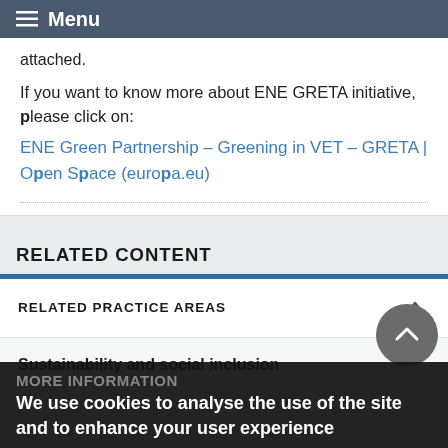Menu
attached.
If you want to know more about ENE GRETA initiative, please click on:
ENE Green Partnership – Greening in VET – GRETA | Open Space (europa.eu)
RELATED CONTENT
RELATED PRACTICE AREAS
Sustainability and social inclusion
MORE INFORMATION
We use cookies to analyse the use of the site and to enhance your user experience